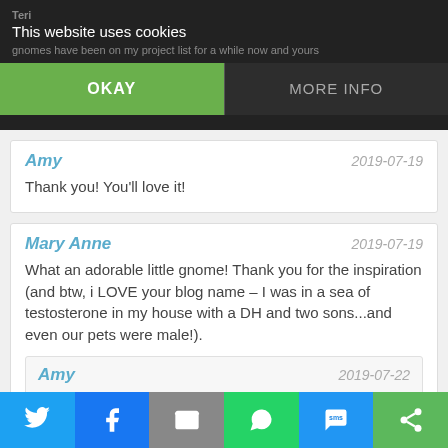This website uses cookies
Teri ... gnomes have been on my project list for a while now and yours
OKAY
MORE INFO
Amy | 2019-07-19 | Thank you! You'll love it!
Mary Anne | 2019-07-19 | What an adorable little gnome! Thank you for the inspiration (and btw, i LOVE your blog name – I was in a sea of testosterone in my house with a DH and two sons...and even our pets were male!).
Amy | 2019-07-22 | Thank you! Yeah, the hormones were definitely scary some times! We only have our youngest daughter and son home